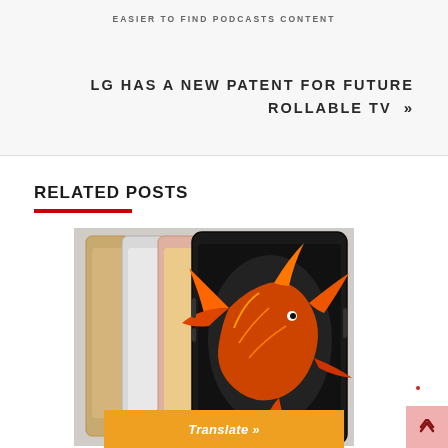EASIER TO FIND PODCASTS CONTENT
LG HAS A NEW PATENT FOR FUTURE ROLLABLE TV »
RELATED POSTS
[Figure (photo): Multiple iPhone 6s models shown in gold, silver, rose gold, and space gray colors, with the space gray one showing a fish wallpaper on its screen]
Translate »